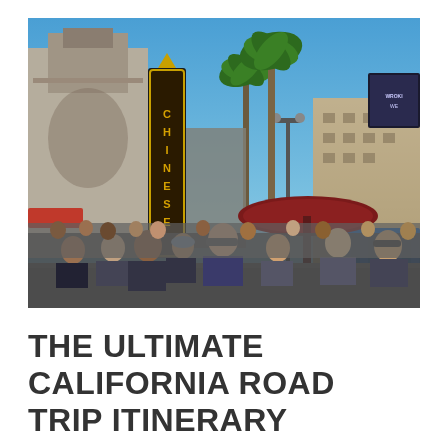[Figure (photo): Street-level photo of Hollywood Boulevard showing TCL Chinese Theatre (with 'CHINESE' vertical marquee sign), crowds of tourists walking on the sidewalk, palm trees, blue sky, and a large building in the background. A red umbrella and blue barriers are visible on the right side.]
THE ULTIMATE CALIFORNIA ROAD TRIP ITINERARY